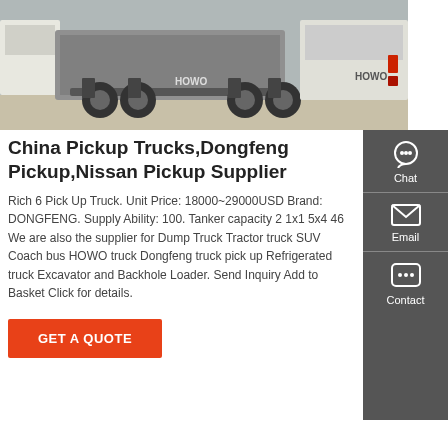[Figure (photo): Row of HOWO heavy-duty trucks viewed from rear, parked in a yard, grey/overcast background.]
China Pickup Trucks,Dongfeng Pickup,Nissan Pickup Supplier
Rich 6 Pick Up Truck. Unit Price: 18000~29000USD Brand: DONGFENG. Supply Ability: 100. Tanker capacity 2 1x1 5x4 46 We are also the supplier for Dump Truck Tractor truck SUV Coach bus HOWO truck Dongfeng truck pick up Refrigerated truck Excavator and Backhole Loader. Send Inquiry Add to Basket Click for details.
[Figure (infographic): Sidebar with Chat, Email, and Contact icons on dark grey background.]
GET A QUOTE